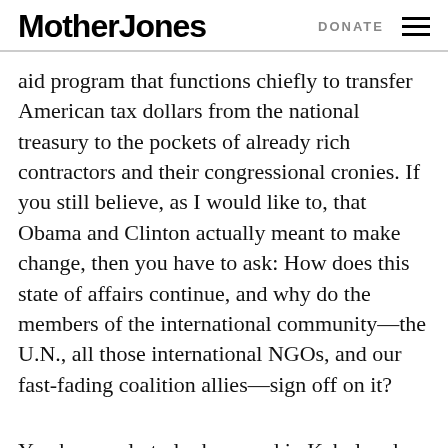Mother Jones   DONATE
aid program that functions chiefly to transfer American tax dollars from the national treasury to the pockets of already rich contractors and their congressional cronies. If you still believe, as I would like to, that Obama and Clinton actually meant to make change, then you have to ask: How does this state of affairs continue, and why do the members of the international community—the U.N., all those international NGOs, and our fast-fading coalition allies—sign off on it?
You have only to look around in Kabul and elsewhere, as I did this month, to see that the more American military there is, the more insurgents there are, the more contractors are needed, the more...